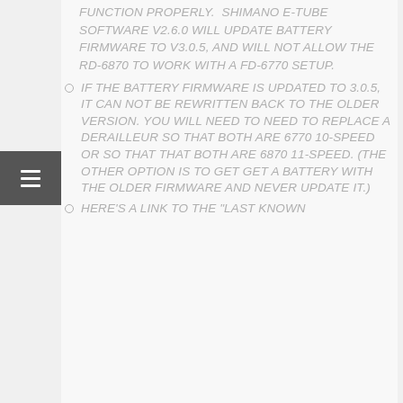FUNCTION PROPERLY. SHIMANO E-TUBE SOFTWARE V2.6.0 WILL UPDATE BATTERY FIRMWARE TO V3.0.5, AND WILL NOT ALLOW THE RD-6870 TO WORK WITH A FD-6770 SETUP.
IF THE BATTERY FIRMWARE IS UPDATED TO 3.0.5, IT CAN NOT BE REWRITTEN BACK TO THE OLDER VERSION. YOU WILL NEED TO NEED TO REPLACE A DERAILLEUR SO THAT BOTH ARE 6770 10-SPEED OR SO THAT THAT BOTH ARE 6870 11-SPEED. (THE OTHER OPTION IS TO GET GET A BATTERY WITH THE OLDER FIRMWARE AND NEVER UPDATE IT.)
HERE'S A LINK TO THE "LAST KNOWN